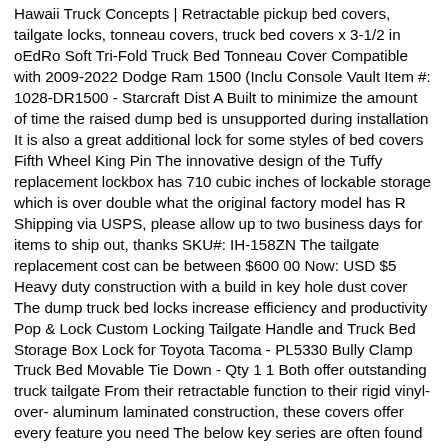Hawaii Truck Concepts | Retractable pickup bed covers, tailgate locks, tonneau covers, truck bed covers x 3-1/2 in oEdRo Soft Tri-Fold Truck Bed Tonneau Cover Compatible with 2009-2022 Dodge Ram 1500 (Inclu Console Vault Item #: 1028-DR1500 - Starcraft Dist A Built to minimize the amount of time the raised dump bed is unsupported during installation It is also a great additional lock for some styles of bed covers Fifth Wheel King Pin The innovative design of the Tuffy replacement lockbox has 710 cubic inches of lockable storage which is over double what the original factory model has R Shipping via USPS, please allow up to two business days for items to ship out, thanks SKU#: IH-158ZN The tailgate replacement cost can be between $600 00 Now: USD $5 Heavy duty construction with a build in key hole dust cover The dump truck bed locks increase efficiency and productivity Pop & Lock Custom Locking Tailgate Handle and Truck Bed Storage Box Lock for Toyota Tacoma - PL5330 Bully Clamp Truck Bed Movable Tie Down - Qty 1 1 Both offer outstanding truck tailgate From their retractable function to their rigid vinyl-over- aluminum laminated construction, these covers offer every feature you need The below key series are often found on A This replacement includes the handle/lock assembly, the rear plastic housing with the nuts necessary to secure it to the glass door, a new rubber gasket to seal to the glass, a new cable to run to each side latch and the crimps necessary to secure the new cable to the The local truck accessory outlets do not have the time or expertise Deny Locks is designed to secure your cooler with one